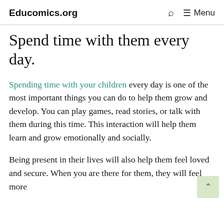Educomics.org  🔍  ☰ Menu
Spend time with them every day.
Spending time with your children every day is one of the most important things you can do to help them grow and develop. You can play games, read stories, or talk with them during this time. This interaction will help them learn and grow emotionally and socially.
Being present in their lives will also help them feel loved and secure. When you are there for them, they will feel more